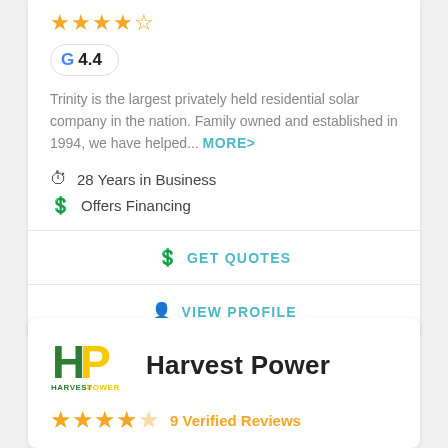[Figure (other): Star rating row with 4.5 stars in orange]
[Figure (other): Google badge showing G logo and score 4.4]
Trinity is the largest privately held residential solar company in the nation. Family owned and established in 1994, we have helped... MORE >
28 Years in Business
Offers Financing
GET QUOTES
VIEW PROFILE
[Figure (logo): Harvest Power logo: HP letters in green/yellow with HARVESTPOWER text below]
Harvest Power
[Figure (other): Star rating row with approximately 4 stars in orange]
9 Verified Reviews